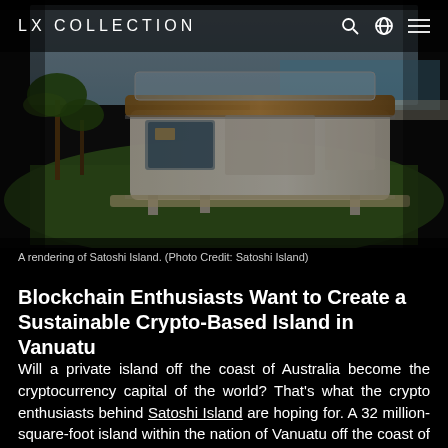LX COLLECTION
[Figure (photo): Aerial rendering of Satoshi Island showing a modern modular structure with transparent walls and wooden deck on a green grass area near a beach]
A rendering of Satoshi Island. (Photo Credit: Satoshi Island)
Blockchain Enthusiasts Want to Create a Sustainable Crypto-Based Island in Vanuatu
Will a private island off the coast of Australia become the cryptocurrency capital of the world? That's what the crypto enthusiasts behind Satoshi Island are hoping for. A 32 million-square-foot island within the nation of Vanuatu off the coast of Australia, currently owned and operated by a company called